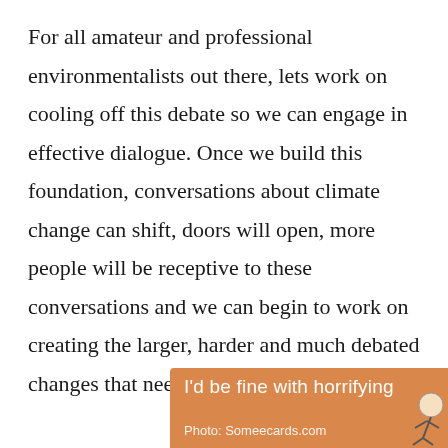For all amateur and professional environmentalists out there, lets work on cooling off this debate so we can engage in effective dialogue. Once we build this foundation, conversations about climate change can shift, doors will open, more people will be receptive to these conversations and we can begin to work on creating the larger, harder and much debated changes that need to take place.
[Figure (photo): Partial image with orange/tan background showing text 'I'd be fine with horrifying' and caption 'Photo: Someecards.com' with a cartoon figure partially visible at the right edge]